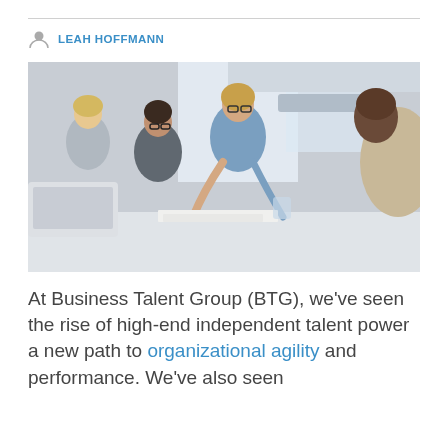LEAH HOFFMANN
[Figure (photo): A woman in a denim shirt leans over a conference table, pointing at documents, while three colleagues look on in an office meeting room.]
At Business Talent Group (BTG), we've seen the rise of high-end independent talent power a new path to organizational agility and performance. We've also seen